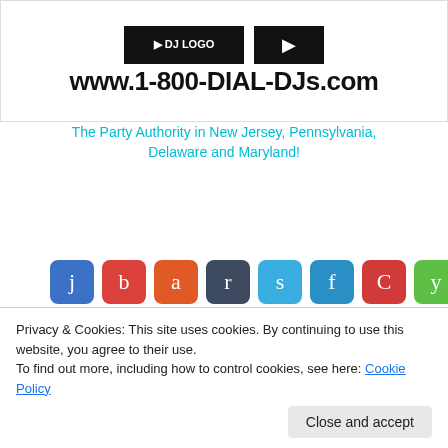[Figure (screenshot): Website banner for 1-800-DIAL-DJs showing logo images and URL]
www.1-800-DIAL-DJs.com
The Party Authority in New Jersey, Pennsylvania, Delaware and Maryland!
[Figure (infographic): Row of 8 social sharing icon buttons colored blue, red, orange, dark blue, light blue, blue, red, green with letters j, b, a, r, s, f, C, y]
Related
[Figure (photo): Cafe Dean related article thumbnail showing people]
[Figure (photo): Heroes related article thumbnail showing comic/cartoon hero character on purple background]
Privacy & Cookies: This site uses cookies. By continuing to use this website, you agree to their use.
To find out more, including how to control cookies, see here: Cookie Policy
Close and accept